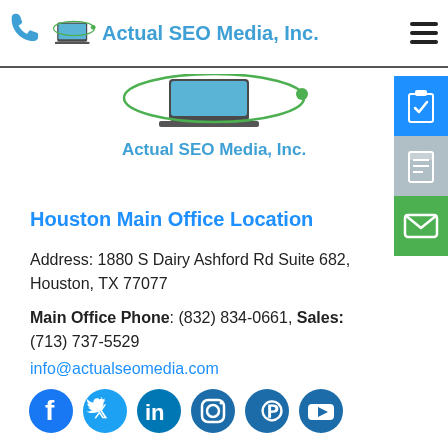[Figure (logo): Actual SEO Media, Inc. logo with laptop graphic and phone icon in top navigation bar, hamburger menu icon]
[Figure (logo): Actual SEO Media, Inc. logo with laptop graphic in content area]
[Figure (infographic): Right side vertical icon buttons: blue clipboard with checkmark, gray list/document icon, green envelope icon]
Houston Main Office Location
Address: 1880 S Dairy Ashford Rd Suite 682, Houston, TX 77077
Main Office Phone: (832) 834-0661, Sales: (713) 737-5529
info@actualseomedia.com
[Figure (infographic): Row of social media icons: Facebook, Twitter, LinkedIn, Instagram, Pinterest, YouTube - all in blue circular style]